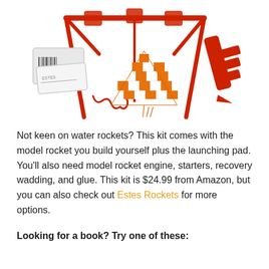[Figure (photo): Model rocket kit components including a red launch pad frame, orange and white checkered parachute, red rocket body/fin pieces, stickers/decals sheet, and a red elastic cord, arranged on a white background.]
Not keen on water rockets? This kit comes with the model rocket you build yourself plus the launching pad. You'll also need model rocket engine, starters, recovery wadding, and glue. This kit is $24.99 from Amazon, but you can also check out Estes Rockets for more options.
Looking for a book? Try one of these: